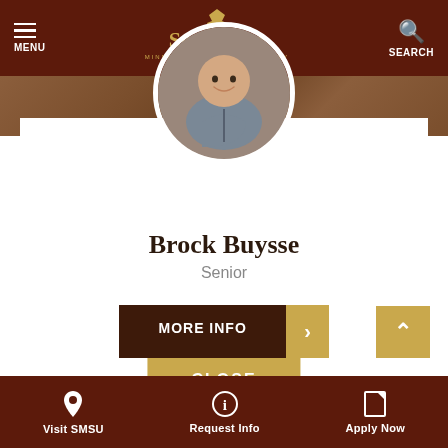MENU | SOUTHWEST MINNESOTA STATE UNIVERSITY | SEARCH
[Figure (photo): Circular profile photo of Brock Buysse, a young man wearing a gray Patagonia fleece jacket, smiling, with a brick wall background]
Brock Buysse
Senior
MORE INFO >
CLOSE
Visit SMSU | Request Info | Apply Now